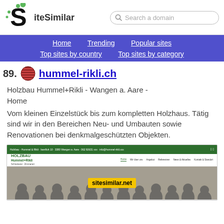SiteSimilar — Search a domain
Home  Trending  Popular sites  Top sites by country  Top sites by category
89. hummel-rikli.ch
Holzbau Hummel+Rikli - Wangen a. Aare - Home
Vom kleinen Einzelstück bis zum kompletten Holzhaus. Tätig sind wir in den Bereichen Neu- und Umbauten sowie Renovationen bei denkmalgeschützten Objekten.
[Figure (screenshot): Screenshot of hummel-rikli.ch website showing green header bar, Holzbau Hummel+Rikli logo and navigation, and a group photo of the team with a sitesimilar.net watermark overlay.]